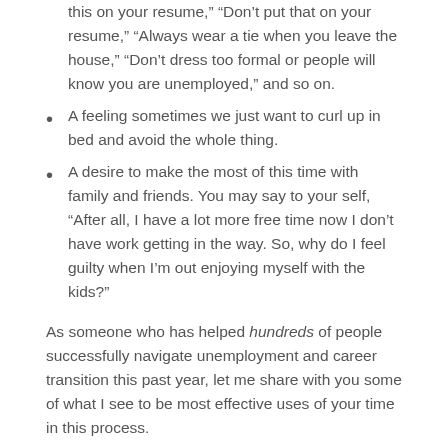this on your resume," "Don’t put that on your resume," "Always wear a tie when you leave the house," "Don’t dress too formal or people will know you are unemployed," and so on.
A feeling sometimes we just want to curl up in bed and avoid the whole thing.
A desire to make the most of this time with family and friends. You may say to your self, “After all, I have a lot more free time now I don’t have work getting in the way. So, why do I feel guilty when I’m out enjoying myself with the kids?”
As someone who has helped hundreds of people successfully navigate unemployment and career transition this past year, let me share with you some of what I see to be most effective uses of your time in this process.
Most Effective Uses Of Time For A Job Seeker